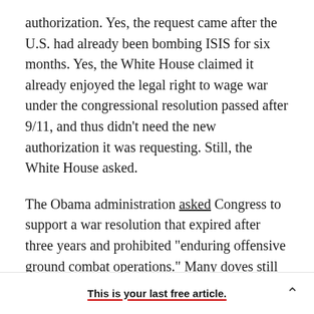authorization. Yes, the request came after the U.S. had already been bombing ISIS for six months. Yes, the White House claimed it already enjoyed the legal right to wage war under the congressional resolution passed after 9/11, and thus didn't need the new authorization it was requesting. Still, the White House asked.
The Obama administration asked Congress to support a war resolution that expired after three years and prohibited "enduring offensive ground combat operations." Many doves still found it too broad. Rand Paul offered an amendment—which
This is your last free article.